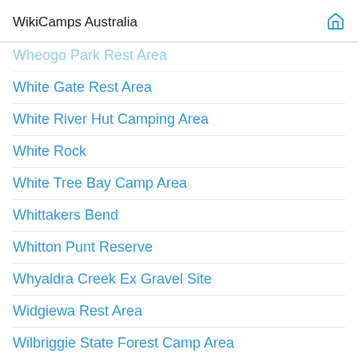WikiCamps Australia
Wheogo Park Rest Area
White Gate Rest Area
White River Hut Camping Area
White Rock
White Tree Bay Camp Area
Whittakers Bend
Whitton Punt Reserve
Whyaldra Creek Ex Gravel Site
Widgiewa Rest Area
Wilbriggie State Forest Camp Area
Wild Freecamp with a View
Wild Cow Station